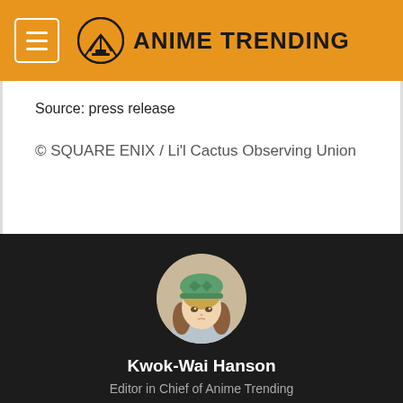ANIME TRENDING
Source: press release
© SQUARE ENIX / Li'l Cactus Observing Union
[Figure (illustration): Circular avatar of an anime character wearing a green knit hat with twintail brown hair and a light blue jacket, used as author profile photo for Kwok-Wai Hanson]
Kwok-Wai Hanson
Editor in Chief of Anime Trending
[Figure (logo): Twitter bird icon in white on dark background]